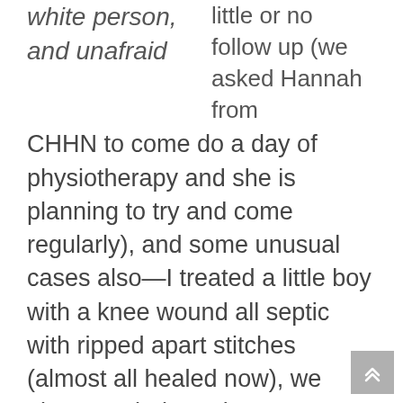white person, and unafraid

little or no follow up (we asked Hannah from CHHN to come do a day of physiotherapy and she is planning to try and come regularly), and some unusual cases also—I treated a little boy with a knee wound all septic with ripped apart stitches (almost all healed now), we ultrasounded nearly every pregnant woman in the village of 6,000, and after only two days people started coming out to the